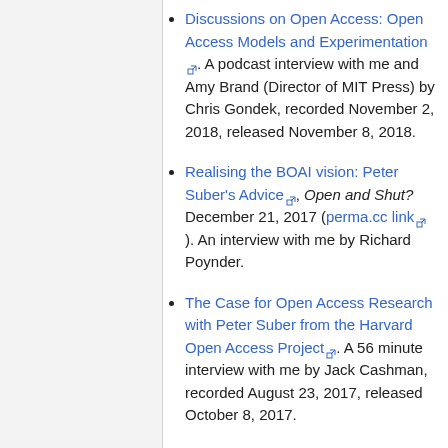Discussions on Open Access: Open Access Models and Experimentation [external link]. A podcast interview with me and Amy Brand (Director of MIT Press) by Chris Gondek, recorded November 2, 2018, released November 8, 2018.
Realising the BOAI vision: Peter Suber's Advice [external link], Open and Shut? December 21, 2017 (perma.cc link [external link]). An interview with me by Richard Poynder.
The Case for Open Access Research with Peter Suber from the Harvard Open Access Project [external link]. A 56 minute interview with me by Jack Cashman, recorded August 23, 2017, released October 8, 2017.
Open Access: Advocacy [external link], Library ...